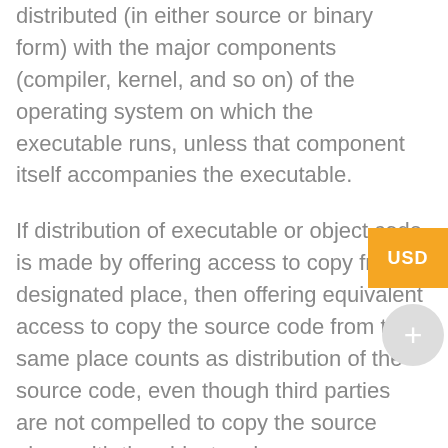distributed (in either source or binary form) with the major components (compiler, kernel, and so on) of the operating system on which the executable runs, unless that component itself accompanies the executable.
If distribution of executable or object code is made by offering access to copy from a designated place, then offering equivalent access to copy the source code from the same place counts as distribution of the source code, even though third parties are not compelled to copy the source along with the object code.
4. You may not copy, modify, sublicense, or distribute the Program except as expressly provided under this License. Any attempt otherwise to copy, modify, sublicense or